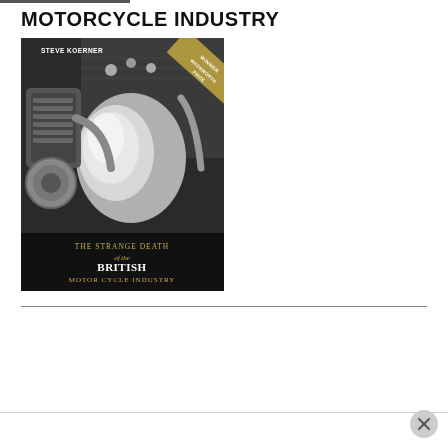MOTORCYCLE INDUSTRY
[Figure (photo): Book cover of 'The Strange Death of the British Motor Cycle Industry' by Steve Koerner. Cover shows a close-up photograph of a chrome motorcycle engine. Text on cover reads: STEVE KOERNER at top, WINNER WADSWORTH PRIZE on diagonal banner, THE STRANGE DEATH of the BRITISH MOTOR CYCLE INDUSTRY at bottom on dark background.]